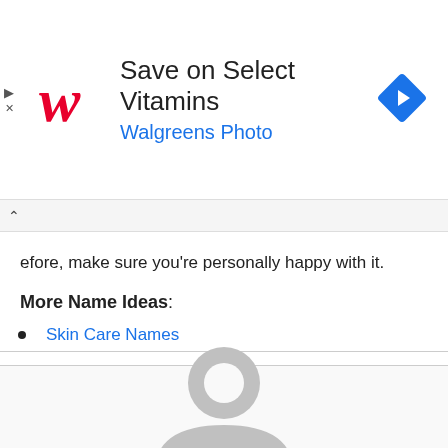[Figure (infographic): Walgreens advertisement banner: Walgreens cursive logo in red, text 'Save on Select Vitamins' and 'Walgreens Photo' in blue, blue diamond arrow navigation icon on right, play/close icons on left]
efore, make sure you're personally happy with it.
More Name Ideas:
Skin Care Names
[Figure (illustration): Generic grey user/profile avatar icon — circular head with circular body silhouette]